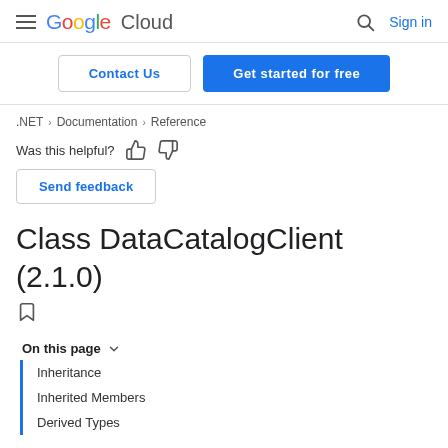Google Cloud | Sign in
Contact Us | Get started for free
.NET > Documentation > Reference
Was this helpful?
Send feedback
Class DataCatalogClient (2.1.0)
On this page
Inheritance
Inherited Members
Derived Types